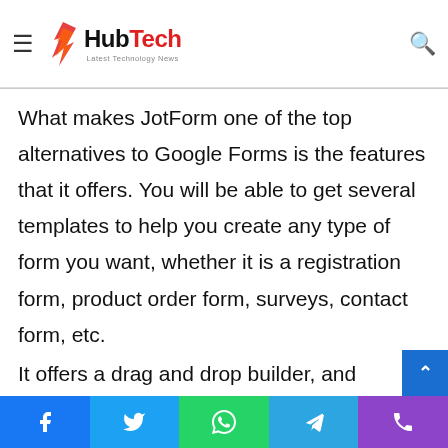HubTech - Latest Technology News
quickly accesses information through surveys, order forms, feedback forms, etc.
What makes JotForm one of the top alternatives to Google Forms is the features that it offers. You will be able to get several templates to help you create any type of form you want, whether it is a registration form, product order form, surveys, contact form, etc.
It offers a drag and drop builder, and what's more, ea...
Social share buttons: Facebook, Twitter, WhatsApp, Telegram, Phone